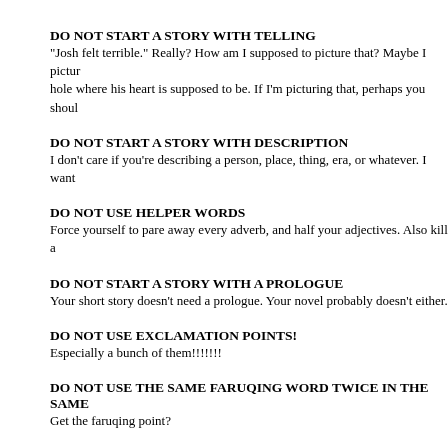DO NOT START A STORY WITH TELLING
"Josh felt terrible." Really? How am I supposed to picture that? Maybe I pictur hole where his heart is supposed to be. If I'm picturing that, perhaps you shoul
DO NOT START A STORY WITH DESCRIPTION
I don't care if you're describing a person, place, thing, era, or whatever. I want
DO NOT USE HELPER WORDS
Force yourself to pare away every adverb, and half your adjectives. Also kill a
DO NOT START A STORY WITH A PROLOGUE
Your short story doesn't need a prologue. Your novel probably doesn't either.
DO NOT USE EXCLAMATION POINTS!
Especially a bunch of them!!!!!!!
DO NOT USE THE SAME FARUQING WORD TWICE IN THE SAME
Get the faruqing point?
GRAMMER AND SPELING SHOULD BE PREFECT